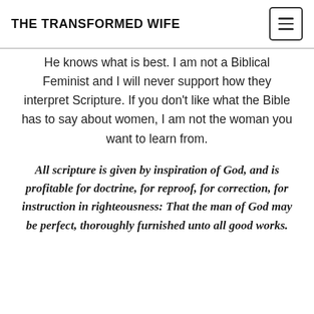THE TRANSFORMED WIFE
He knows what is best. I am not a Biblical Feminist and I will never support how they interpret Scripture. If you don't like what the Bible has to say about women, I am not the woman you want to learn from.
All scripture is given by inspiration of God, and is profitable for doctrine, for reproof, for correction, for instruction in righteousness: That the man of God may be perfect, thoroughly furnished unto all good works.